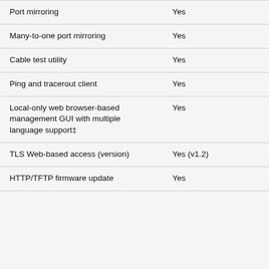| Feature | Support |
| --- | --- |
| Port mirroring | Yes |
| Many-to-one port mirroring | Yes |
| Cable test utility | Yes |
| Ping and tracerout client | Yes |
| Local-only web browser-based management GUI with multiple language support‡ | Yes |
| TLS Web-based access (version) | Yes (v1.2) |
| HTTP/TFTP firmware update | Yes |